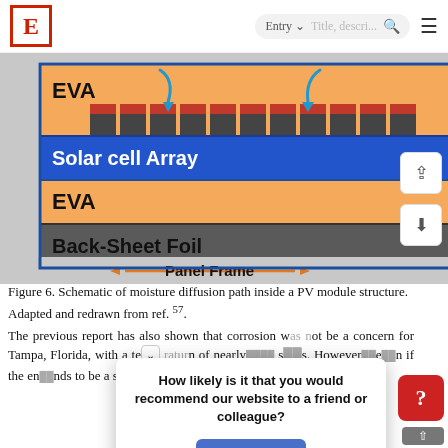E | Entry | [search] [menu]
[Figure (schematic): Schematic cross-section of a solar PV module showing layers: top EVA layer with solar cell fingers (red/dark rectangles) and moisture diffusion arrows, Solar cell Array (blue), EVA layer (orange), Back-Sheet Foil (dark gray). Panel Frame label with double-headed orange arrow at bottom.]
Figure 6. Schematic of moisture diffusion path inside a PV module structure. Adapted and redrawn from ref. [57].
The previous report has also shown that corrosion was not be a concern for Tampa, Florida, with a temperature of nearly [obscured] s. However [obscured] n if the en[vironmental conditions] nds to be a severe [condition] ditionally